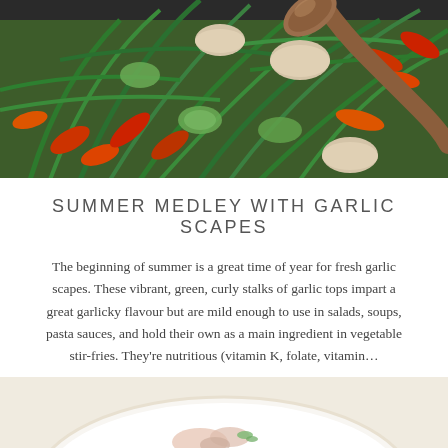[Figure (photo): A cast iron skillet filled with colorful stir-fry vegetables including green garlic scapes, red peppers, mushrooms, zucchini, and carrots, being stirred with a wooden spoon.]
SUMMER MEDLEY WITH GARLIC SCAPES
The beginning of summer is a great time of year for fresh garlic scapes. These vibrant, green, curly stalks of garlic tops impart a great garlicky flavour but are mild enough to use in salads, soups, pasta sauces, and hold their own as a main ingredient in vegetable stir-fries. They're nutritious (vitamin K, folate, vitamin…
[Figure (photo): A white plate with food, partially visible at the bottom of the page, on a light cream background.]